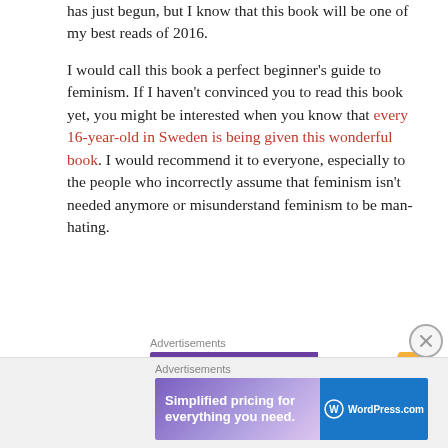has just begun, but I know that this book will be one of my best reads of 2016.

I would call this book a perfect beginner's guide to feminism. If I haven't convinced you to read this book yet, you might be interested when you know that every 16-year-old in Sweden is being given this wonderful book. I would recommend it to everyone, especially to the people who incorrectly assume that feminism isn't needed anymore or misunderstand feminism to be man-hating.
[Figure (screenshot): WooCommerce advertisement banner: purple background with WooCommerce logo and arrow, white right section with text 'How to start selling subscriptions online', orange/teal decorative shapes.]
[Figure (screenshot): WordPress.com advertisement banner: gradient purple/pink background with text 'Simplified pricing for everything you need.' and WordPress.com logo on blue right section.]